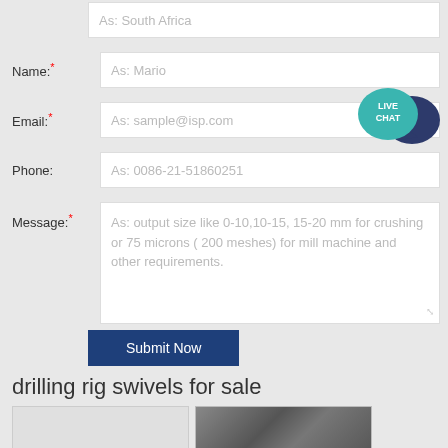[Figure (screenshot): Web contact form with fields for Name, Email, Phone, Message, and a Submit Now button, plus a Live Chat badge]
As: South Africa (top input, partially visible)
Name:* As: Mario
Email:* As: sample@isp.com
Phone: As: 0086-21-51860251
Message:* As: output size like 0-10,10-15, 15-20 mm for crushing or 75 microns ( 200 meshes) for mill machine and other requirements.
Submit Now
drilling rig swivels for sale